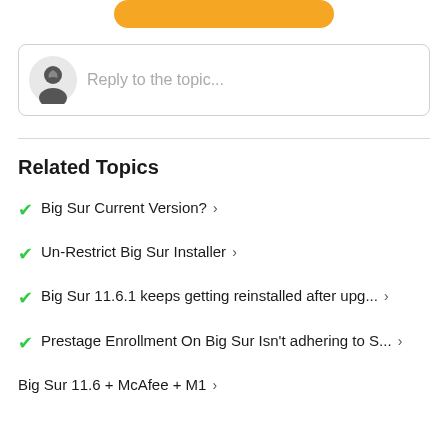[Figure (other): Orange rounded button partially visible at top of page]
[Figure (other): Reply to topic input box with user avatar icon and placeholder text 'Reply to the topic...']
Related Topics
Big Sur Current Version? ›
Un-Restrict Big Sur Installer ›
Big Sur 11.6.1 keeps getting reinstalled after upg... ›
Prestage Enrollment On Big Sur Isn't adhering to S... ›
Big Sur 11.6 + McAfee + M1 ›